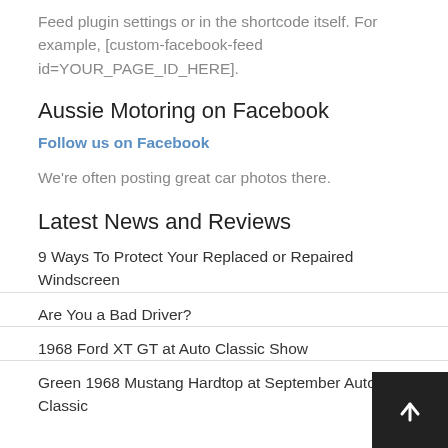Feed plugin settings or in the shortcode itself. For example, [custom-facebook-feed id=YOUR_PAGE_ID_HERE].
Aussie Motoring on Facebook
Follow us on Facebook
We're often posting great car photos there.
Latest News and Reviews
9 Ways To Protect Your Replaced or Repaired Windscreen
Are You a Bad Driver?
1968 Ford XT GT at Auto Classic Show
Green 1968 Mustang Hardtop at September Auto Classic